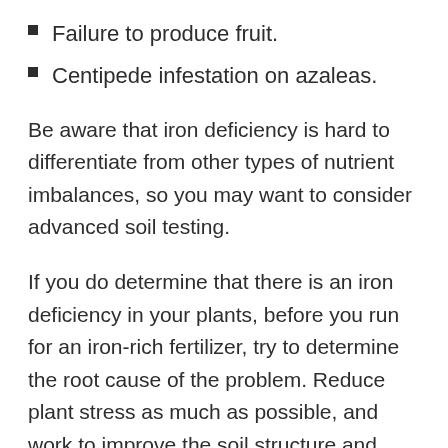Failure to produce fruit.
Centipede infestation on azaleas.
Be aware that iron deficiency is hard to differentiate from other types of nutrient imbalances, so you may want to consider advanced soil testing.
If you do determine that there is an iron deficiency in your plants, before you run for an iron-rich fertilizer, try to determine the root cause of the problem. Reduce plant stress as much as possible, and work to improve the soil structure and drainage. Also be sure to correct